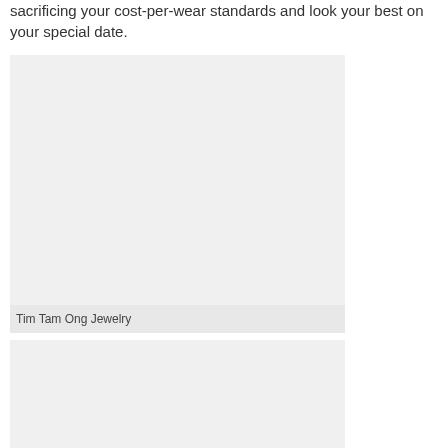sacrificing your cost-per-wear standards and look your best on your special date.
[Figure (photo): Large light gray image placeholder rectangle]
Tim Tam Ong Jewelry
[Figure (photo): Second large light gray image placeholder rectangle]